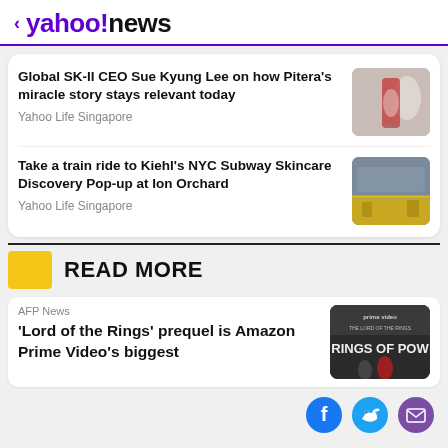< yahoo!news
Global SK-II CEO Sue Kyung Lee on how Pitera's miracle story stays relevant today
Yahoo Life Singapore
Take a train ride to Kiehl's NYC Subway Skincare Discovery Pop-up at Ion Orchard
Yahoo Life Singapore
READ MORE
AFP News
'Lord of the Rings' prequel is Amazon Prime Video's biggest